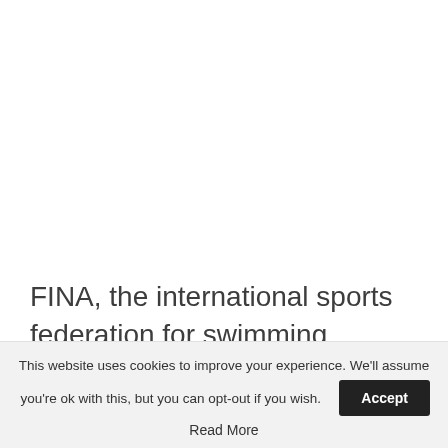FINA, the international sports federation for swimming, announced on Sunday that transgender women are now only allowed to compete in the organization's women's races if
This website uses cookies to improve your experience. We'll assume you're ok with this, but you can opt-out if you wish. Accept Read More